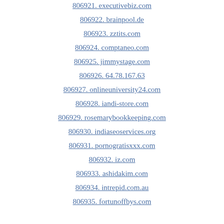806921. executivebiz.com
806922. brainpool.de
806923. zztits.com
806924. comptaneo.com
806925. jimmystage.com
806926. 64.78.167.63
806927. onlineuniversity24.com
806928. iandi-store.com
806929. rosemarybookkeeping.com
806930. indiaseoservices.org
806931. pornogratisxxx.com
806932. iz.com
806933. ashidakim.com
806934. intrepid.com.au
806935. fortunoffbys.com